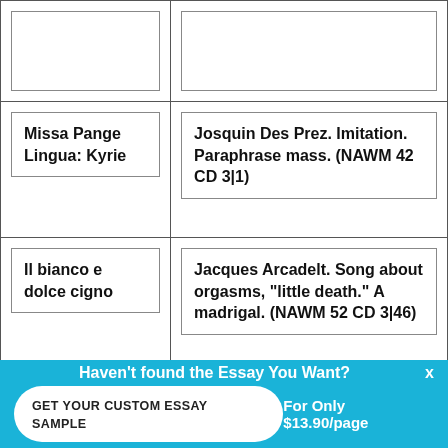| Piece | Description |
| --- | --- |
| Missa Pange Lingua: Kyrie | Josquin Des Prez. Imitation. Paraphrase mass. (NAWM 42 CD 3|1) |
| Il bianco e dolce cigno | Jacques Arcadelt. Song about orgasms, “little death.” A madrigal. (NAWM 52 CD 3|46) |
| Crude Amarilli | Claudio Monteverdi. Madrigal. About bitter love... |
Haven't found the Essay You Want?
GET YOUR CUSTOM ESSAY SAMPLE
For Only $13.90/page